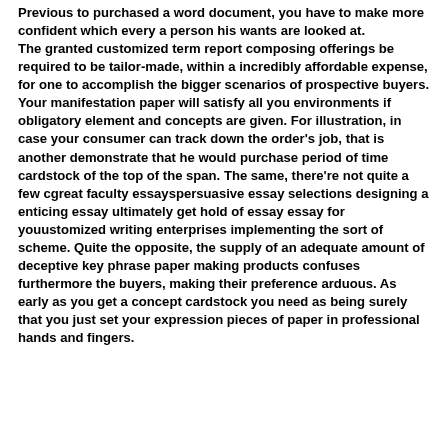Previous to purchased a word document, you have to make more confident which every a person his wants are looked at. The granted customized term report composing offerings be required to be tailor-made, within a incredibly affordable expense, for one to accomplish the bigger scenarios of prospective buyers. Your manifestation paper will satisfy all you environments if obligatory element and concepts are given. For illustration, in case your consumer can track down the order's job, that is another demonstrate that he would purchase period of time cardstock of the top of the span. The same, there're not quite a few cgreat faculty essayspersuasive essay selections designing a enticing essay ultimately get hold of essay essay for youustomized writing enterprises implementing the sort of scheme. Quite the opposite, the supply of an adequate amount of deceptive key phrase paper making products confuses furthermore the buyers, making their preference arduous. As early as you get a concept cardstock you need as being surely that you just set your expression pieces of paper in professional hands and fingers.